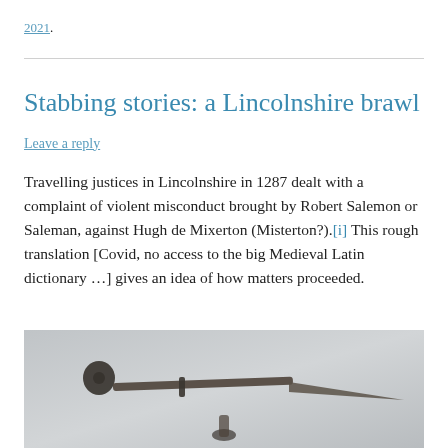2021.
Stabbing stories: a Lincolnshire brawl
Leave a reply
Travelling justices in Lincolnshire in 1287 dealt with a complaint of violent misconduct brought by Robert Salemon or Saleman, against Hugh de Mixerton (Misterton?).[i] This rough translation [Covid, no access to the big Medieval Latin dictionary …] gives an idea of how matters proceeded.
[Figure (photo): Photograph of a medieval dagger or spike weapon lying on a grey background, showing a dark metal spike with a rounded pommel.]